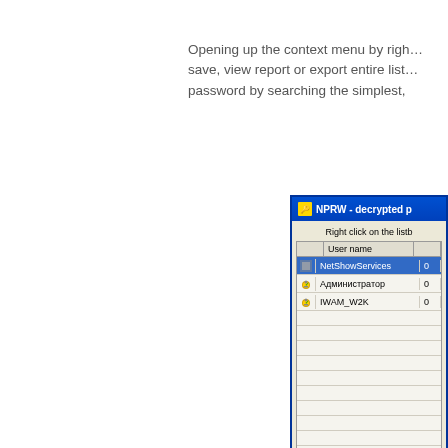Opening up the context menu by right... save, view report or export entire list... password by searching the simplest,
[Figure (screenshot): A Windows XP-style application window titled 'NPRW - decrypted p...' showing a list with columns 'User name' and another column. Three rows visible: NetShowServices (selected/highlighted in blue), Администратор, IWAM_W2K. Below are empty rows. A message reads 'Right click on the listb...']